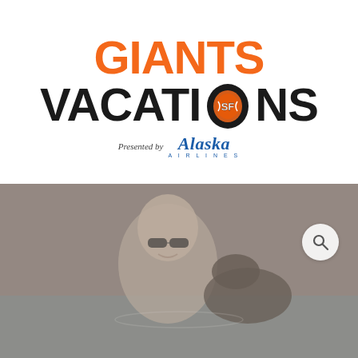[Figure (logo): Giants Vacations logo presented by Alaska Airlines. 'GIANTS' in orange bold text, 'VACATIONS' in black bold text with a circular baseball/airplane emblem replacing the letter O, underneath reads 'Presented by Alaska Airlines' in blue italic script.]
[Figure (photo): A smiling person wearing sunglasses posed with a sea lion, partially submerged in water. A search icon button overlays the top-right of the photo.]